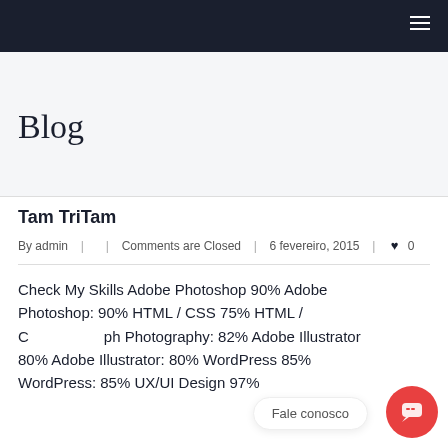≡ (navigation bar with hamburger menu)
Blog
Tam TriTam
By admin  |  |  Comments are Closed  |  6 fevereiro, 2015  |  ♥ 0
Check My Skills Adobe Photoshop 90% Adobe Photoshop: 90% HTML / CSS 75% HTML / C... Photography: 82% Adobe Illustrator 80% Adobe Illustrator: 80% WordPress 85% WordPress: 85% UX/UI Design 97%